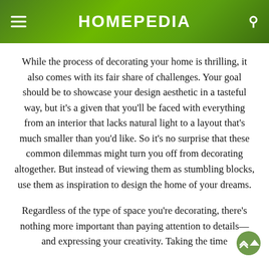HOMEPEDIA
While the process of decorating your home is thrilling, it also comes with its fair share of challenges. Your goal should be to showcase your design aesthetic in a tasteful way, but it's a given that you'll be faced with everything from an interior that lacks natural light to a layout that's much smaller than you'd like. So it's no surprise that these common dilemmas might turn you off from decorating altogether. But instead of viewing them as stumbling blocks, use them as inspiration to design the home of your dreams.
Regardless of the type of space you're decorating, there's nothing more important than paying attention to details—and expressing your creativity. Taking the time to...